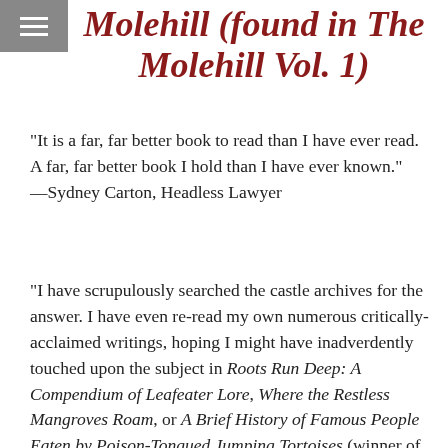Molehill (found in The Molehill Vol. 1)
“It is a far, far better book to read than I have ever read. A far, far better book I hold than I have ever known.” —Sydney Carton, Headless Lawyer
“I have scrupulously searched the castle archives for the answer. I have even re-read my own numerous critically-acclaimed writings, hoping I might have inadverdently touched upon the subject in Roots Run Deep: A Compendium of Leafeater Lore, Where the Restless Mangroves Roam, or A Brief History of Famous People Eaten by Poison-Tongued Jumping Tortoises (winner of the coveted Arthur P. Pickelheimer Prize for Acrimonious Adverbs). But alas, to no avail. Reader, I humbly lay the dilemma before your feet: Does this molehill, or does it not, contain a giant? The Lyre-That-Never-Lies may have